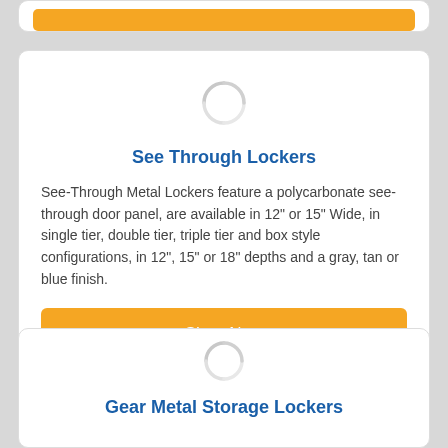[Figure (screenshot): Partial orange Shop Now button visible at top of page, cropped card]
See Through Lockers
See-Through Metal Lockers feature a polycarbonate see-through door panel, are available in 12" or 15" Wide, in single tier, double tier, triple tier and box style configurations, in 12", 15" or 18" depths and a gray, tan or blue finish.
Shop Now
Gear Metal Storage Lockers